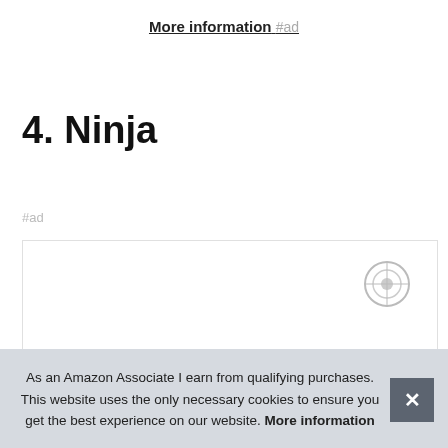More information #ad
4. Ninja
#ad
[Figure (photo): Product image of a Ninja blender/appliance inside a bordered box; partially visible at bottom]
As an Amazon Associate I earn from qualifying purchases. This website uses the only necessary cookies to ensure you get the best experience on our website. More information